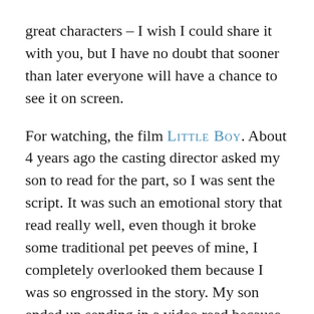great characters – I wish I could share it with you, but I have no doubt that sooner than later everyone will have a chance to see it on screen.
For watching, the film LITTLE BOY. About 4 years ago the casting director asked my son to read for the part, so I was sent the script. It was such an emotional story that read really well, even though it broke some traditional pet peeves of mine, I completely overlooked them because I was so engrossed in the story. My son ended up sending in a video read because I was on a job in Virginia AND he had just lost his 2 front teeth so we knew the read wouldn't go over at its best. Regardless, we went to see it (and I have to say the boy they had for the lead